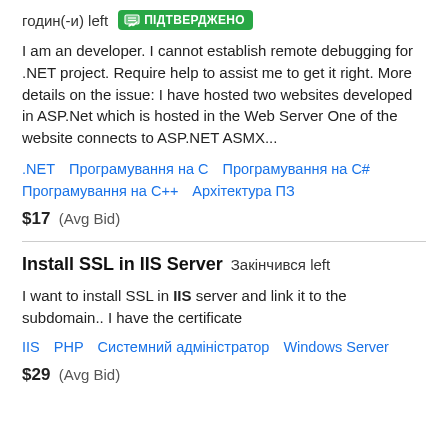годин(-и) left  ПІДТВЕРДЖЕНО
I am an developer. I cannot establish remote debugging for .NET project. Require help to assist me to get it right. More details on the issue: I have hosted two websites developed in ASP.Net which is hosted in the Web Server One of the website connects to ASP.NET ASMX...
.NET   Програмування на С   Програмування на С#   Програмування на С++   Архітектура ПЗ
$17  (Avg Bid)
Install SSL in IIS Server  Закінчився left
I want to install SSL in IIS server and link it to the subdomain.. I have the certificate
IIS   PHP   Системний адміністратор   Windows Server
$29  (Avg Bid)